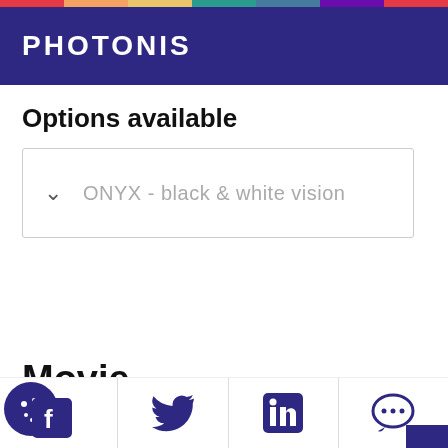PHOTONIS
Options available
ONYX - black & white vision
Movie
[Figure (other): Footer bar with social media icons: Facebook, Twitter, LinkedIn, and chat/comment icon, plus a cookie consent icon overlay]
Documentation